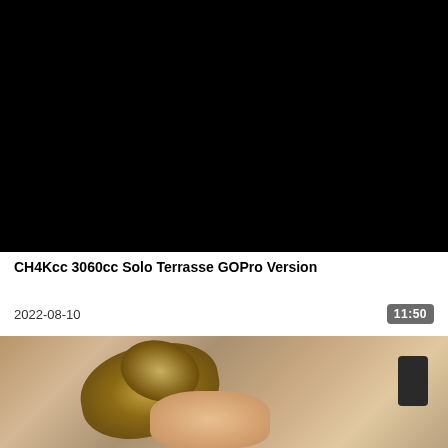[Figure (photo): Black video thumbnail / still frame (completely black screen)]
CH4Kcc 3060cc Solo Terrasse GOPro Version
2022-08-10
11:50
[Figure (photo): Partial view of a person's head with blonde/brown hair pulled up, seen from behind/side, blurred foreground]